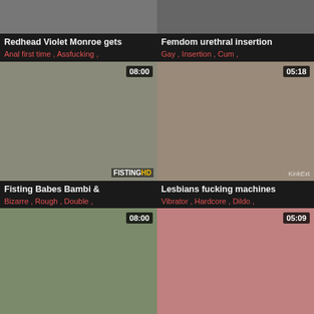[Figure (screenshot): Thumbnail of Redhead Violet Monroe video (top cropped)]
[Figure (screenshot): Thumbnail of Femdom urethral insertion video (top cropped)]
Redhead Violet Monroe gets
Anal first time , Assfucking ,
Femdom urethral insertion
Gay , Insertion , Cum ,
[Figure (screenshot): Thumbnail of Fisting Babes Bambi video, duration 08:00, watermark FISTINGHD]
[Figure (screenshot): Thumbnail of Lesbians fucking machines video, duration 05:18, watermark KinkExt]
Fisting Babes Bambi &
Bizarre , Rough , Double ,
Lesbians fucking machines
Vibrator , Hardcore , Dildo ,
[Figure (screenshot): Thumbnail of Bailey Brooke finds her video, duration 08:00]
[Figure (screenshot): Thumbnail of Wet pussy blonde fucks video, duration 05:09, watermark KinkMest]
Bailey Brooke finds her
Gaping , Hardcore , Anal ,
Wet pussy blonde fucks
Vibrator , Squirting ,